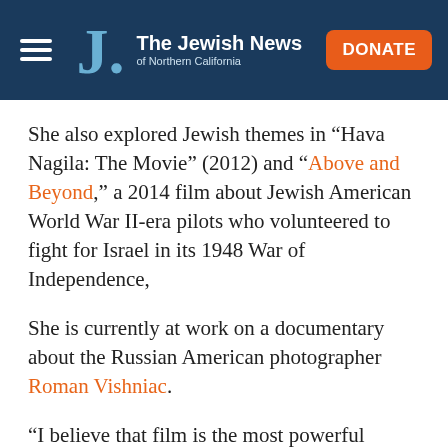The Jewish News of Northern California
She also explored Jewish themes in “Hava Nagila: The Movie” (2012) and “Above and Beyond,” a 2014 film about Jewish American World War II-era pilots who volunteered to fight for Israel in its 1948 War of Independence,
She is currently at work on a documentary about the Russian American photographer Roman Vishniac.
“I believe that film is the most powerful medium in which to tell historical stories and, to me, very few histories are as compelling as the Jewish story,”